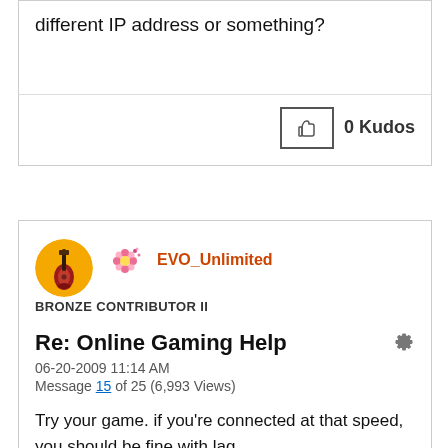different IP address or something?
0 Kudos
EVO_Unlimited
BRONZE CONTRIBUTOR II
Re: Online Gaming Help
06-20-2009 11:14 AM
Message 15 of 25 (6,993 Views)
Try your game. if you're connected at that speed, you should be fine with lag.
By entering your IP it should take you to the router you're hooked up to.